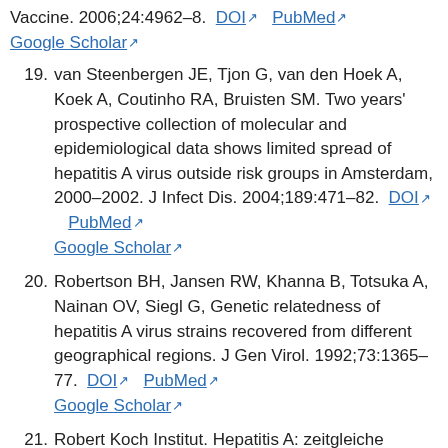Vaccine. 2006;24:4962–8. DOI [external link] PubMed [external link] Google Scholar [external link]
19. van Steenbergen JE, Tjon G, van den Hoek A, Koek A, Coutinho RA, Bruisten SM. Two years' prospective collection of molecular and epidemiological data shows limited spread of hepatitis A virus outside risk groups in Amsterdam, 2000–2002. J Infect Dis. 2004;189:471–82. DOI [external link] PubMed [external link] Google Scholar [external link]
20. Robertson BH, Jansen RW, Khanna B, Totsuka A, Nainan OV, Siegl G, Genetic relatedness of hepatitis A virus strains recovered from different geographical regions. J Gen Virol. 1992;73:1365–77. DOI [external link] PubMed [external link] Google Scholar [external link]
21. Robert Koch Institut. Hepatitis A: zeitgleiche